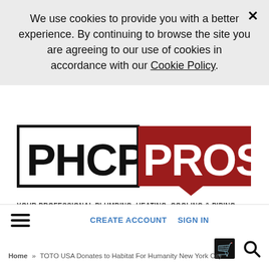We use cookies to provide you with a better experience. By continuing to browse the site you are agreeing to our use of cookies in accordance with our Cookie Policy.
[Figure (logo): PHCP Pros logo — 'PHCP' in black block letters inside a black rectangle outline, 'PROS' in white letters on a dark red speech-bubble rectangle. Tagline: YOUR PROFESSIONAL PLUMBING, HEATING, COOLING & PIPING COMMUNITY]
CREATE ACCOUNT   SIGN IN
Home » TOTO USA Donates to Habitat For Humanity New York City